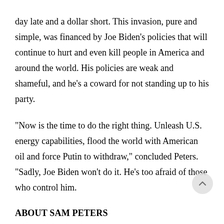day late and a dollar short. This invasion, pure and simple, was financed by Joe Biden's policies that will continue to hurt and even kill people in America and around the world. His policies are weak and shameful, and he's a coward for not standing up to his party.
"Now is the time to do the right thing. Unleash U.S. energy capabilities, flood the world with American oil and force Putin to withdraw," concluded Peters. "Sadly, Joe Biden won't do it. He's too afraid of those who control him.
ABOUT SAM PETERS
Sam is a U.S. Air Force Major (Retired), Bronze Star r[ecipie]nt, a two-time "Best of Las Vegas" small business owner, and devoted family man and Christian. He ran for Congress in